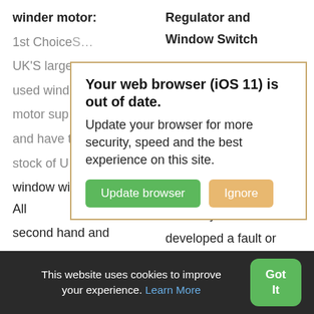winder motor:
Regulator and Window Switch
1st Choice [partially obscured]
UK'S large [partially obscured]
used wind [partially obscured]
motor sup [partially obscured]
and have t [partially obscured] will
stock of U [partially obscured] not
window winder motors. All second hand and reconditioned window winder motors are guaranteed and supplied at discount prices
alone if your unit has developed a fault or stopped working. We are also seeing an increase in demand for replacement electric window switches.
[Figure (screenshot): Browser update warning modal with title 'Your web browser (iOS 11) is out of date.' and body text 'Update your browser for more security, speed and the best experience on this site.' with two buttons: 'Update browser' (green) and 'Ignore' (orange/tan).]
This website uses cookies to improve your experience. Learn More
Got It